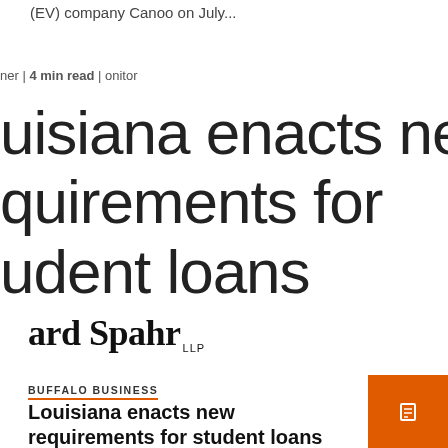(EV) company Canoo on July...
her | 4 min read | onitor
Louisiana enacts new requirements for student loans
[Figure (logo): Ballard Spahr LLP law firm logo]
BUFFALO BUSINESS
Louisiana enacts new requirements for student loans